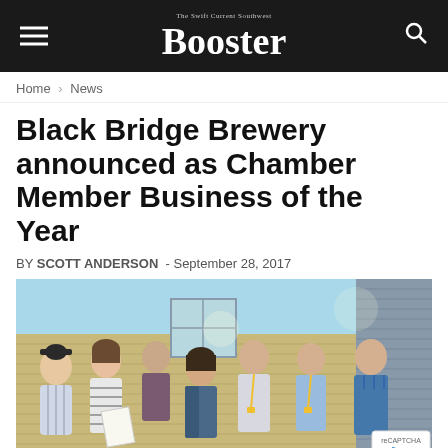Booster
Home › News
Black Bridge Brewery announced as Chamber Member Business of the Year
BY SCOTT ANDERSON - September 28, 2017
[Figure (photo): Group photo of seven people standing outside Black Bridge Brewery, smiling at the camera. One person holds a document or certificate.]